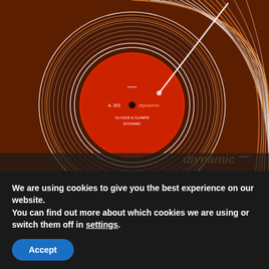[Figure (illustration): Diynamic music label record sleeve illustration — dark brown background with stylized vinyl record showing concentric grooves in white, orange and brown tones, with a red center label. The bottom-right corner shows the 'diynamic' logo text in orange/brown italic lettering.]
We are using cookies to give you the best experience on our website.
You can find out more about which cookies we are using or switch them off in settings.
Accept